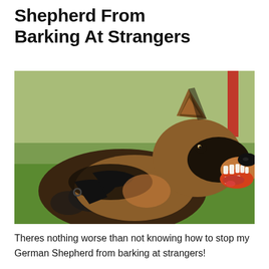Shepherd From Barking At Strangers
[Figure (photo): A German Shepherd dog wearing a black harness, photographed close-up with mouth open showing teeth, appearing to bark or growl. Green grass and a blurred red pole visible in the background.]
Theres nothing worse than not knowing how to stop my German Shepherd from barking at strangers!